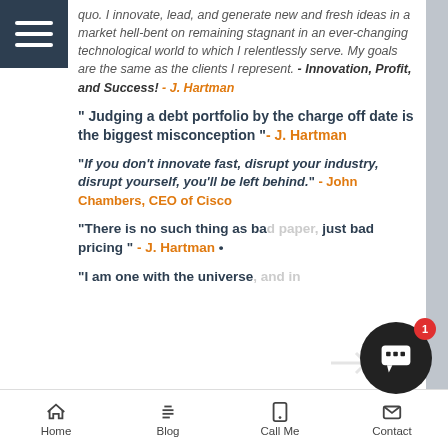[Figure (other): Hamburger menu icon (three horizontal white lines on dark background) in top-left corner]
quo. I innovate, lead, and generate new and fresh ideas in a market hell-bent on remaining stagnant in an ever-changing technological world to which I relentlessly serve. My goals are the same as the clients I represent. - Innovation, Profit, and Success! - J. Hartman
" Judging a debt portfolio by the charge off date is the biggest misconception "- J. Hartman
"If you don't innovate fast, disrupt your industry, disrupt yourself, you'll be left behind." - John Chambers, CEO of Cisco
"There is no such thing as bad paper, just bad pricing " - J. Hartman •
"I am one with the universe, and in
Home   Blog   Call Me   Contact